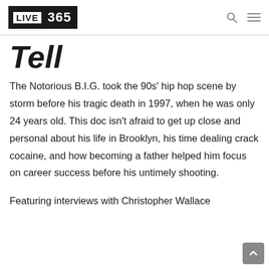LIVE 365
Tell
The Notorious B.I.G. took the 90s' hip hop scene by storm before his tragic death in 1997, when he was only 24 years old. This doc isn't afraid to get up close and personal about his life in Brooklyn, his time dealing crack cocaine, and how becoming a father helped him focus on career success before his untimely shooting.
Featuring interviews with Christopher Wallace